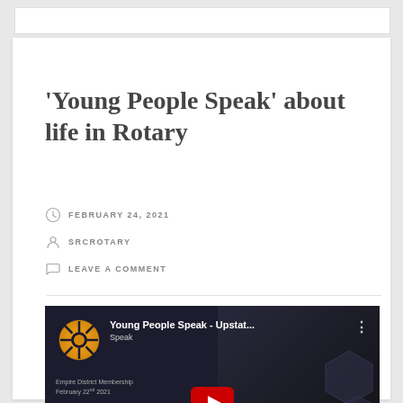'Young People Speak' about life in Rotary
FEBRUARY 24, 2021
SRCROTARY
LEAVE A COMMENT
[Figure (screenshot): YouTube video thumbnail showing 'Young People Speak - Upstat...' with Rotary logo, a person with glasses visible, red play button, hexagon shapes, and text 'Empire District Membership February 22nd 2021']